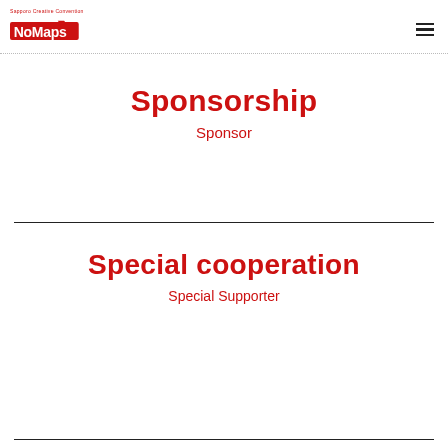NoMaps
Sponsorship
Sponsor
Special cooperation
Special Supporter